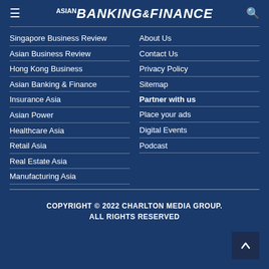ASIAN BANKING & FINANCE
Singapore Business Review
Asian Business Review
Hong Kong Business
Asian Banking & Finance
Insurance Asia
Asian Power
Healthcare Asia
Retail Asia
Real Estate Asia
Manufacturing Asia
About Us
Contact Us
Privacy Policy
Sitemap
Partner with us
Place your ads
Digital Events
Podcast
COPYRIGHT © 2022 CHARLTON MEDIA GROUP. ALL RIGHTS RESERVED